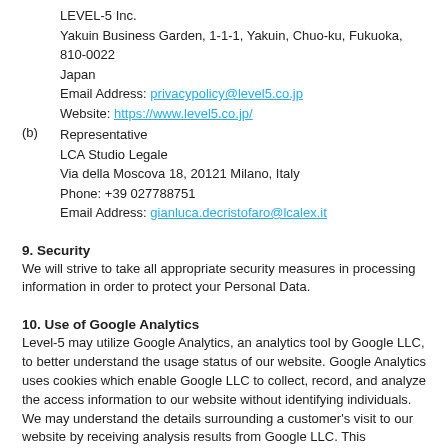LEVEL-5 Inc.
Yakuin Business Garden, 1-1-1, Yakuin, Chuo-ku, Fukuoka, 810-0022 Japan
Email Address: privacypolicy@level5.co.jp
Website: https://www.level5.co.jp/
(b) Representative
LCA Studio Legale
Via della Moscova 18, 20121 Milano, Italy
Phone: +39 027788751
Email Address: gianluca.decristofaro@lcalex.it
9. Security
We will strive to take all appropriate security measures in processing information in order to protect your Personal Data.
10. Use of Google Analytics
Level-5 may utilize Google Analytics, an analytics tool by Google LLC, to better understand the usage status of our website. Google Analytics uses cookies which enable Google LLC to collect, record, and analyze the access information to our website without identifying individuals. We may understand the details surrounding a customer's visit to our website by receiving analysis results from Google LLC. This technology can be rejected by disabling the applicable cookies. This will stop the collection of personal information, but your browsing experience of our website may be affected, and parts of our website may not function properly.